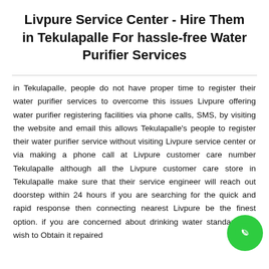Livpure Service Center - Hire Them in Tekulapalle For hassle-free Water Purifier Services
in Tekulapalle, people do not have proper time to register their water purifier services to overcome this issues Livpure offering water purifier registering facilities via phone calls, SMS, by visiting the website and email this allows Tekulapalle's people to register their water purifier service without visiting Livpure service center or via making a phone call at Livpure customer care number Tekulapalle although all the Livpure customer care store in Tekulapalle make sure that their service engineer will reach out doorstep within 24 hours if you are searching for the quick and rapid response then connecting nearest Livpure be the finest option. if you are concerned about drinking water standard and wish to Obtain it repaired